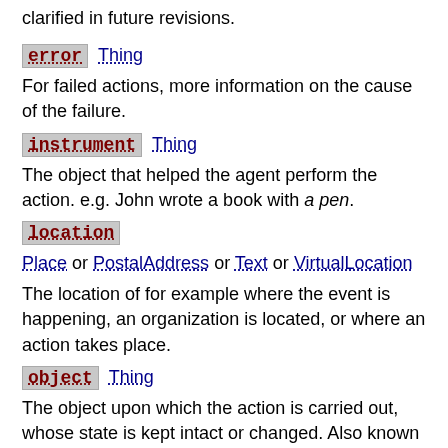clarified in future revisions.
error  Thing
For failed actions, more information on the cause of the failure.
instrument  Thing
The object that helped the agent perform the action. e.g. John wrote a book with a pen.
location
Place  or  PostalAddress  or  Text  or  VirtualLocation
The location of for example where the event is happening, an organization is located, or where an action takes place.
object  Thing
The object upon which the action is carried out, whose state is kept intact or changed. Also known as the semantic roles patient, affected or undergoer (which change their state) or theme (which doesn't). e.g. John